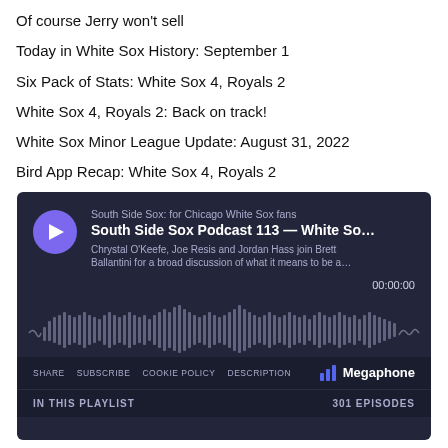Of course Jerry won't sell
Today in White Sox History: September 1
Six Pack of Stats: White Sox 4, Royals 2
White Sox 4, Royals 2: Back on track!
White Sox Minor League Update: August 31, 2022
Bird App Recap: White Sox 4, Royals 2
[Figure (screenshot): Megaphone podcast player embed showing 'South Side Sox Podcast 113 — White So...' with play button, waveform, share/subscribe/cookie policy/description links, and '301 EPISODES' in playlist. Dark navy background.]